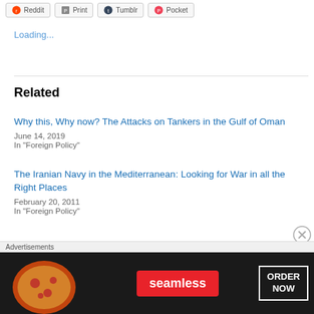[Figure (screenshot): Share bar with Reddit, Print, Tumblr, Pocket buttons]
Loading...
Related
Why this, Why now? The Attacks on Tankers in the Gulf of Oman
June 14, 2019
In "Foreign Policy"
The Iranian Navy in the Mediterranean: Looking for War in all the Right Places
February 20, 2011
In "Foreign Policy"
The Naval Balance in the Arabian Gulf
[Figure (screenshot): Seamless advertisement banner with pizza image, Seamless red logo badge, and ORDER NOW button]